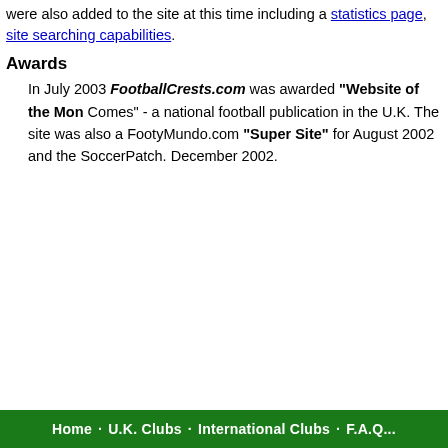were also added to the site at this time including a statistics page, site searching capabilities.
Awards
In July 2003 FootballCrests.com was awarded "Website of the Mon Comes" - a national football publication in the U.K. The site was also a FootyMundo.com "Super Site" for August 2002 and the SoccerPatch. December 2002.
Home   U.K. Clubs   International Clubs   FA.C...